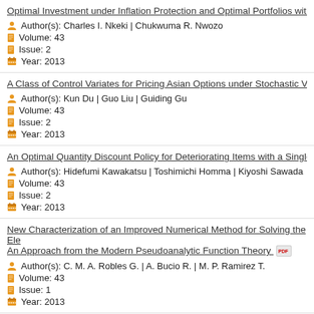Optimal Investment under Inflation Protection and Optimal Portfolios with S
Author(s): Charles I. Nkeki | Chukwuma R. Nwozo
Volume: 43
Issue: 2
Year: 2013
A Class of Control Variates for Pricing Asian Options under Stochastic Vola
Author(s): Kun Du | Guo Liu | Guiding Gu
Volume: 43
Issue: 2
Year: 2013
An Optimal Quantity Discount Policy for Deteriorating Items with a Single W
Author(s): Hidefumi Kawakatsu | Toshimichi Homma | Kiyoshi Sawada
Volume: 43
Issue: 2
Year: 2013
New Characterization of an Improved Numerical Method for Solving the Ele
An Approach from the Modern Pseudoanalytic Function Theory
Author(s): C. M. A. Robles G. | A. Bucio R. | M. P. Ramirez T.
Volume: 43
Issue: 1
Year: 2013